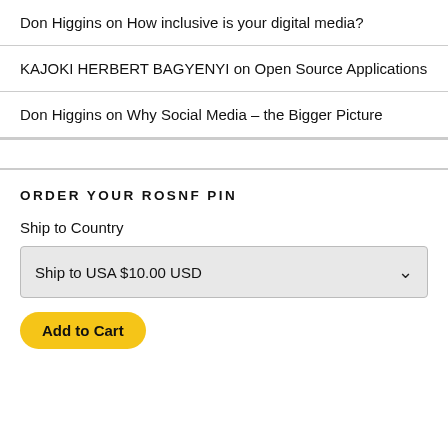Don Higgins on How inclusive is your digital media?
KAJOKI HERBERT BAGYENYI on Open Source Applications
Don Higgins on Why Social Media – the Bigger Picture
ORDER YOUR ROSNF PIN
Ship to Country
Ship to USA $10.00 USD
Add to Cart